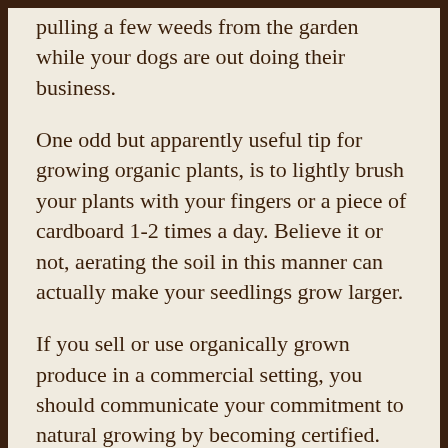pulling a few weeds from the garden while your dogs are out doing their business.
One odd but apparently useful tip for growing organic plants, is to lightly brush your plants with your fingers or a piece of cardboard 1-2 times a day. Believe it or not, aerating the soil in this manner can actually make your seedlings grow larger.
If you sell or use organically grown produce in a commercial setting, you should communicate your commitment to natural growing by becoming certified. This should improve sales and attract customers who are environmentally conscious. A certification will easily communicate to them that they are getting the best products possible.
Water based on the current climate and the season. Knowing how much to water your plants can be a